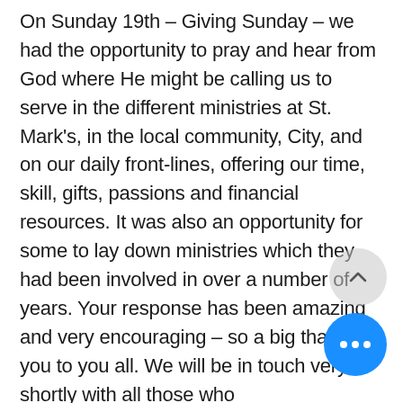On Sunday 19th – Giving Sunday – we had the opportunity to pray and hear from God where He might be calling us to serve in the different ministries at St. Mark's, in the local community, City, and on our daily front-lines, offering our time, skill, gifts, passions and financial resources. It was also an opportunity for some to lay down ministries which they had been involved in over a number of years. Your response has been amazing and very encouraging – so a big thank you to you all. We will be in touch very shortly with all those who oversee/facilitate a ministry related to the ministry and mission of St. Mark's informing you of those who are interested, or want to continue serving in some way.